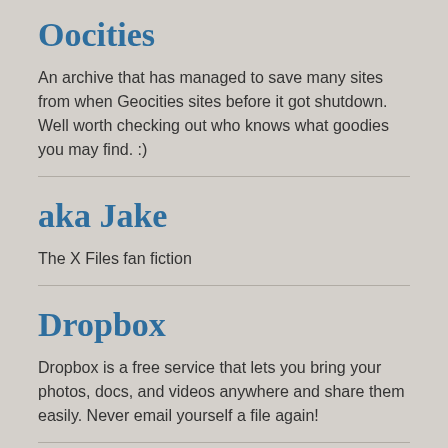Oocities
An archive that has managed to save many sites from when Geocities sites before it got shutdown. Well worth checking out who knows what goodies you may find. :)
aka Jake
The X Files fan fiction
Dropbox
Dropbox is a free service that lets you bring your photos, docs, and videos anywhere and share them easily. Never email yourself a file again!
Peter Outerbridge